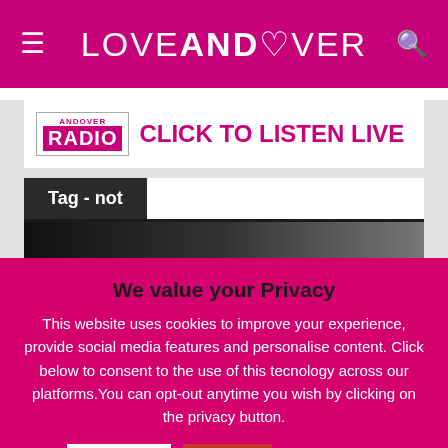LOVEANDOVER
[Figure (screenshot): Andover Radio banner with text CLICK TO LISTEN LIVE]
Tag - not
[Figure (photo): Partial dark image strip]
We value your Privacy
This website uses cookies to improve your experience, provide social media features and personalise content. Click below to consent to the use of this tecnology across our platforms.You can opt-out anytime you wish by clicking on the privacy button.
Accept | Reject | Read More